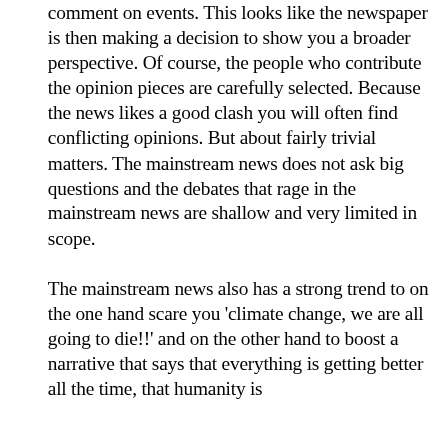comment on events. This looks like the newspaper is then making a decision to show you a broader perspective. Of course, the people who contribute the opinion pieces are carefully selected. Because the news likes a good clash you will often find conflicting opinions. But about fairly trivial matters. The mainstream news does not ask big questions and the debates that rage in the mainstream news are shallow and very limited in scope.

The mainstream news also has a strong trend to on the one hand scare you 'climate change, we are all going to die!!' and on the other hand to boost a narrative that says that everything is getting better all the time, that humanity is